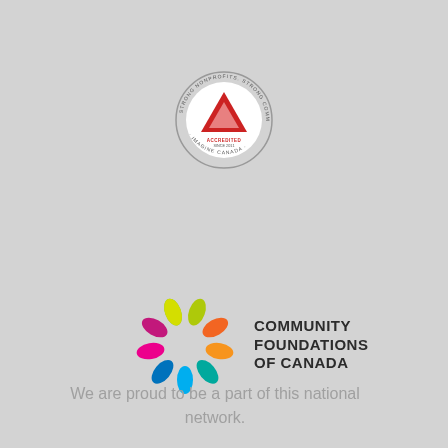[Figure (logo): Imagine Canada accredited logo — circular seal with text 'STRONG NONPROFITS. STRONG COMMUNITIES.' around the edge, a red triangle logo in the center, and 'ACCREDITED SINCE 2011 · IMAGINE CANADA·' text]
[Figure (logo): Community Foundations of Canada logo — colorful swirl made of teardrop shapes in green, orange, yellow, teal, blue, pink, and magenta, with bold text 'COMMUNITY FOUNDATIONS OF CANADA' to the right]
We are proud to be a part of this national network.